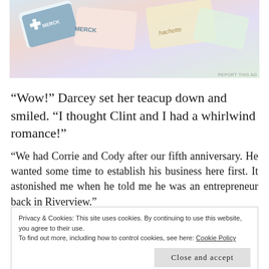[Figure (photo): Photo of branded cards/boxes including Merck and Hachette logos on a colorful background]
“Wow!” Darcey set her teacup down and smiled. “I thought Clint and I had a whirlwind romance!”
“We had Corrie and Cody after our fifth anniversary. He wanted some time to establish his business here first. It astonished me when he told me he was an entrepreneur back in Riverview.”
Privacy & Cookies: This site uses cookies. By continuing to use this website, you agree to their use.
To find out more, including how to control cookies, see here: Cookie Policy
[Close and accept]